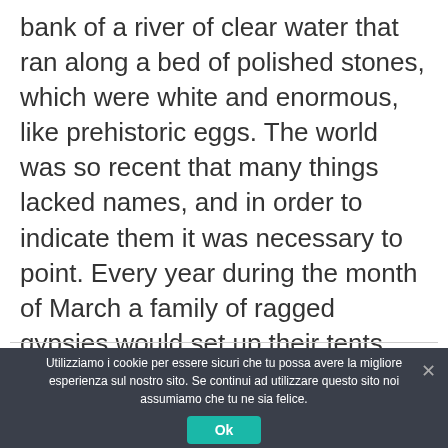bank of a river of clear water that ran along a bed of polished stones, which were white and enormous, like prehistoric eggs. The world was so recent that many things lacked names, and in order to indicate them it was necessary to point. Every year during the month of March a family of ragged gypsies would set up their tents near the village, and with a great uproar of pipes and kettledrums they would display new inventions.
Utilizziamo i cookie per essere sicuri che tu possa avere la migliore esperienza sul nostro sito. Se continui ad utilizzare questo sito noi assumiamo che tu ne sia felice.